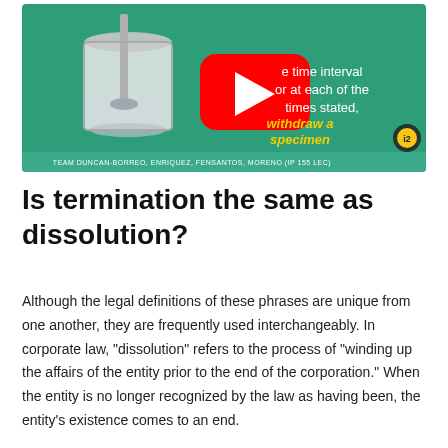[Figure (screenshot): A video thumbnail showing a scientific beaker/flask illustration on a green background with a YouTube play button overlay. Text reads 'the time interval or at each of the times stated, withdraw a specimen' with 'withdraw a specimen' in yellow. Footer text reads 'TEAM DUNCAN-BORREO, ENRIQUEZ, FENSANTOS, MORENO (IP 155 LEC)' with a gear/badge logo.]
Is termination the same as dissolution?
Although the legal definitions of these phrases are unique from one another, they are frequently used interchangeably. In corporate law, “dissolution” refers to the process of “winding up the affairs of the entity prior to the end of the corporation.” When the entity is no longer recognized by the law as having been, the entity’s existence comes to an end.